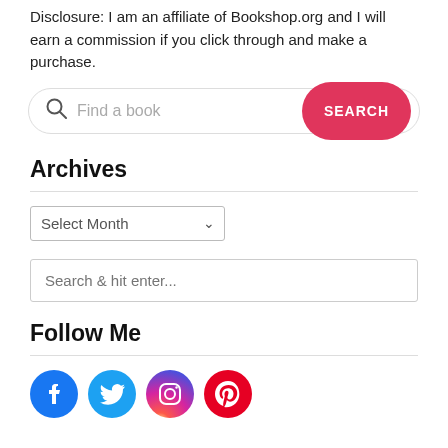Disclosure: I am an affiliate of Bookshop.org and I will earn a commission if you click through and make a purchase.
[Figure (other): Search bar with placeholder 'Find a book' and a pink SEARCH button]
Archives
[Figure (other): Dropdown selector labeled 'Select Month']
[Figure (other): Search input field with placeholder 'Search & hit enter...']
Follow Me
[Figure (other): Social media icons: Facebook (blue circle), Twitter (light blue circle), Instagram (gradient circle), Pinterest (red circle)]